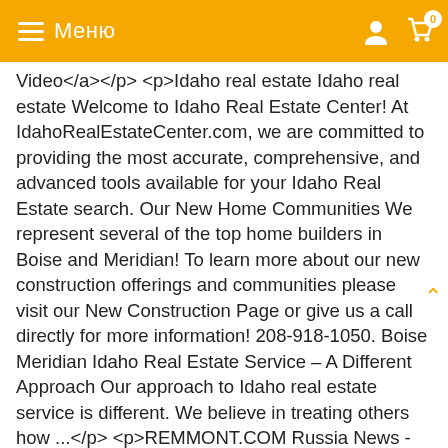Меню
Video&lt;/a&gt;&lt;/p&gt; &lt;p&gt;Idaho real estate Idaho real estate Welcome to Idaho Real Estate Center! At IdahoRealEstateCenter.com, we are committed to providing the most accurate, comprehensive, and advanced tools available for your Idaho Real Estate search. Our New Home Communities We represent several of the top home builders in Boise and Meridian! To learn more about our new construction offerings and communities please visit our New Construction Page or give us a call directly for more information! 208-918-1050. Boise Meridian Idaho Real Estate Service – A Different Approach Our approach to Idaho real estate service is different. We believe in treating others how ...&lt;/p&gt; &lt;p&gt;REMMONT.COM Russia News - Syria News - Turkey News - Ukraine News - Yemen News - USA News&lt;/p&gt; &lt;div&gt; &lt;h3&gt;Related posts:&lt;/h3&gt;&lt;ol&gt; &lt;li&gt;&lt;a